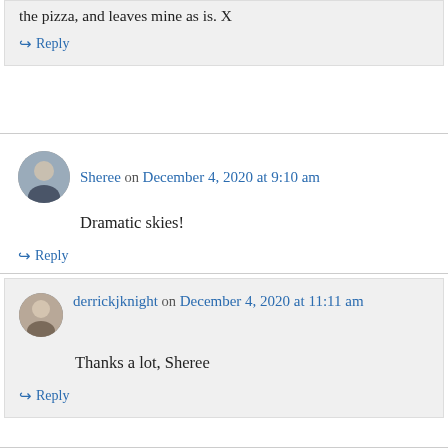the pizza, and leaves mine as is. X
↪ Reply
Sheree on December 4, 2020 at 9:10 am
Dramatic skies!
↪ Reply
derrickjknight on December 4, 2020 at 11:11 am
Thanks a lot, Sheree
↪ Reply